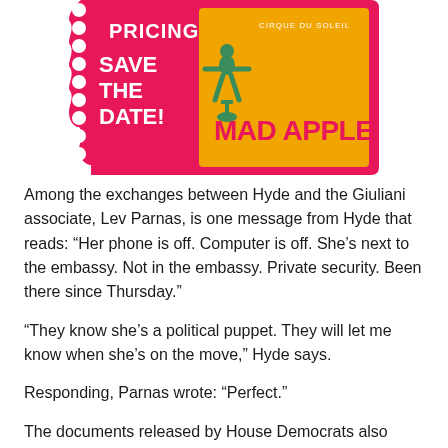[Figure (illustration): Advertisement for Cirque du Soleil Mad Apple show. A pink/red ticket-shaped banner with scalloped edges containing text 'PRICING SAVE THE DATE!' on the left, a green acrobatic figure in the center, and 'CIRQUE DU SOLEIL MAD APPLE' text on a yellow-orange background on the right.]
Among the exchanges between Hyde and the Giuliani associate, Lev Parnas, is one message from Hyde that reads: “Her phone is off. Computer is off. She’s next to the embassy. Not in the embassy. Private security. Been there since Thursday.”
“They know she’s a political puppet. They will let me know when she’s on the move,” Hyde says.
Responding, Parnas wrote: “Perfect.”
The documents released by House Democrats also revealed an unnamed Belgian phone number sharing information about Yovanovitch’s